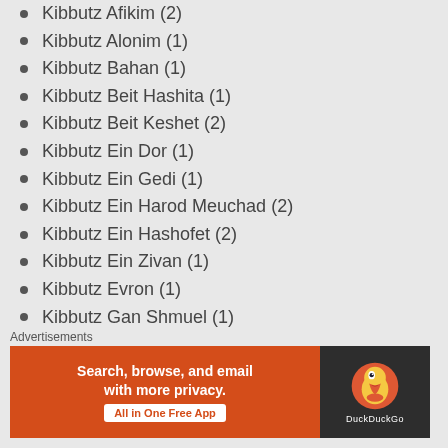Kibbutz Afikim (2)
Kibbutz Alonim (1)
Kibbutz Bahan (1)
Kibbutz Beit Hashita (1)
Kibbutz Beit Keshet (2)
Kibbutz Ein Dor (1)
Kibbutz Ein Gedi (1)
Kibbutz Ein Harod Meuchad (2)
Kibbutz Ein Hashofet (2)
Kibbutz Ein Zivan (1)
Kibbutz Evron (1)
Kibbutz Gan Shmuel (1)
Kibbutz Gat (1)
Kibbutz Gevulot (1)
Kibbutz Ginegar (1)
Advertisements
[Figure (illustration): DuckDuckGo advertisement banner: orange left side with text 'Search, browse, and email with more privacy. All in One Free App', dark right side with DuckDuckGo duck logo and brand name.]